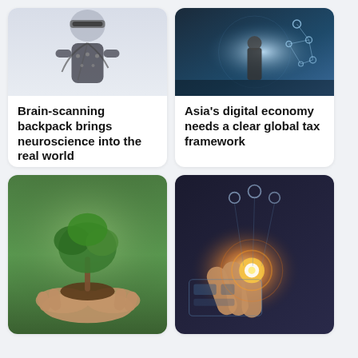[Figure (photo): Person wearing VR headset and motion capture suit with cables attached]
Brain-scanning backpack brings neuroscience into the real world
[Figure (photo): Person standing in front of digital global network visualization with blue glow]
Asia's digital economy needs a clear global tax framework
[Figure (photo): Hands holding a small bonsai tree with soil against green background]
[Figure (photo): Hand touching glowing digital interface with futuristic icons overhead]